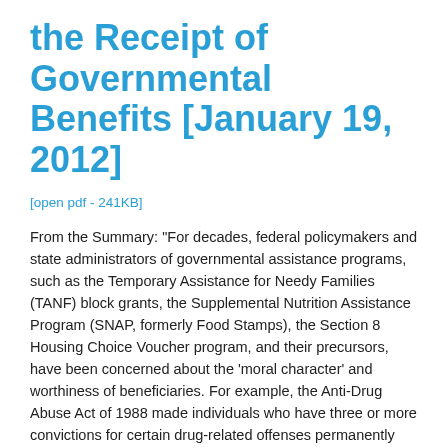the Receipt of Governmental Benefits [January 19, 2012]
[open pdf - 241KB]
From the Summary: "For decades, federal policymakers and state administrators of governmental assistance programs, such as the Temporary Assistance for Needy Families (TANF) block grants, the Supplemental Nutrition Assistance Program (SNAP, formerly Food Stamps), the Section 8 Housing Choice Voucher program, and their precursors, have been concerned about the 'moral character' and worthiness of beneficiaries. For example, the Anti-Drug Abuse Act of 1988 made individuals who have three or more convictions for certain drug-related offenses permanently ineligible for various federal benefits. A provision in the Personal Responsibility and Work Opportunity Reconciliation Act of 1996 went a step